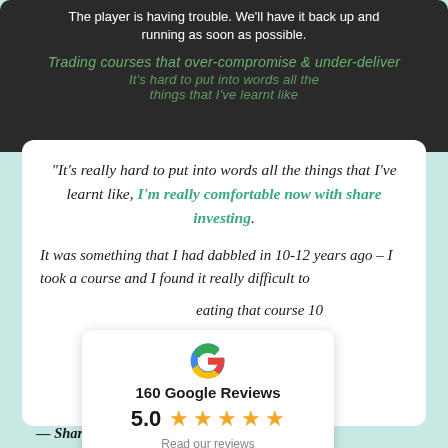[Figure (screenshot): Dark video player banner showing error message 'The player is having trouble. We'll have it back up and running as soon as possible.' with overlaid text about trading courses]
"It's really hard to put into words all the things that I've learnt like, I'm really comfortable now with share investing.
It was something that I had dabbled in 10-12 years ago – I took a course and I found it really difficult to [follow] ... [repeating that course 10 years later gave me] the confidence to [follow and so I didn't have any] confidence at all.
[Figure (infographic): Google Reviews popup showing 5.0 rating with 5 stars and 160 Google Reviews, with 'Read our reviews' link]
— Sharon Crane (Professional Pet Minder)